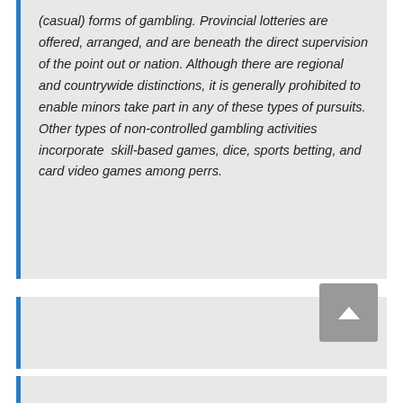(casual) forms of gambling. Provincial lotteries are offered, arranged, and are beneath the direct supervision of the point out or nation. Although there are regional and countrywide distinctions, it is generally prohibited to enable minors take part in any of these types of pursuits. Other types of non-controlled gambling activities incorporate skill-based games, dice, sports betting, and card video games among perrs.